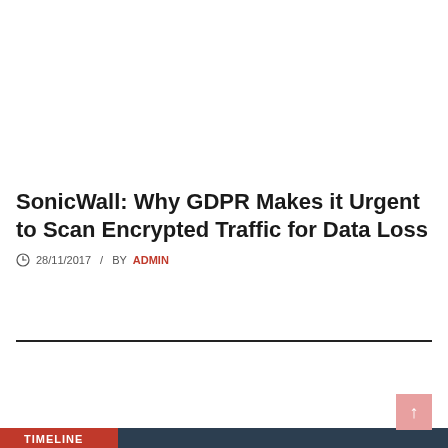SonicWall: Why GDPR Makes it Urgent to Scan Encrypted Traffic for Data Loss
28/11/2017 / BY ADMIN